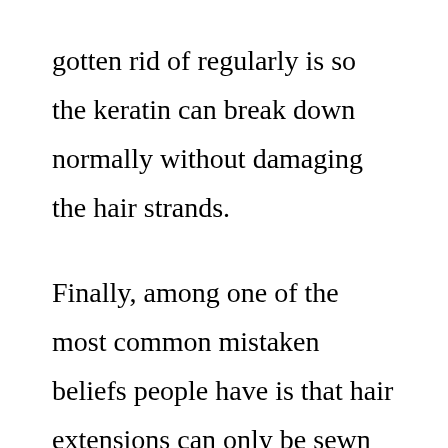gotten rid of regularly is so the keratin can break down normally without damaging the hair strands.

Finally, among one of the most common mistaken beliefs people have is that hair extensions can only be sewn in. This is merely incorrect. As long as the hair extensions are sewn in the proper way, they can remain in area for a very long time without being removed from the scalp. This is